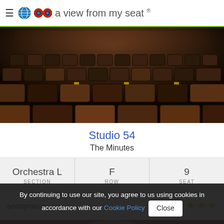a view from my seat ®
[Figure (photo): Theatre interior view from seat showing rows of dark wooden seats and stage with red lighting in background]
Studio 54
The Minutes
| SECTION | ROW | SEAT |
| --- | --- | --- |
| Orchestra L | F | 9 |
anonymous
★★★★★
[Figure (photo): Partial view of reviewer photo]
By continuing to use our site, you agree to us using cookies in accordance with our Cookie Policy  Close